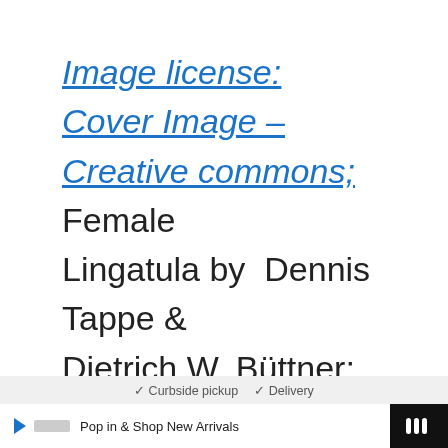Image license: Cover Image – Creative commons; Female Lingatula by Dennis Tappe & Dietrich W. Büttner; License – CC BY 2.5
[Figure (other): Heart/like button (blue circle with heart icon) showing count of 3, and a share button below it]
[Figure (other): What's Next panel showing thumbnail image and text: Orthonectida: Tiny Parasit...]
✓ Curbside pickup  ✓ Delivery  |  Pop in & Shop New Arrivals